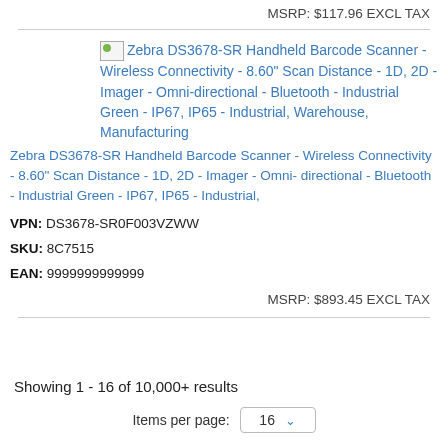MSRP: $117.96 EXCL TAX
Zebra DS3678-SR Handheld Barcode Scanner - Wireless Connectivity - 8.60" Scan Distance - 1D, 2D - Imager - Omni-directional - Bluetooth - Industrial Green - IP67, IP65 - Industrial, Warehouse, Manufacturing
Zebra DS3678-SR Handheld Barcode Scanner - Wireless Connectivity - 8.60" Scan Distance - 1D, 2D - Imager - Omni-directional - Bluetooth - Industrial Green - IP67, IP65 - Industrial,
VPN: DS3678-SR0F003VZWW
SKU: 8C7515
EAN: 9999999999999
MSRP: $893.45 EXCL TAX
Showing 1 - 16 of 10,000+ results
Items per page: 16